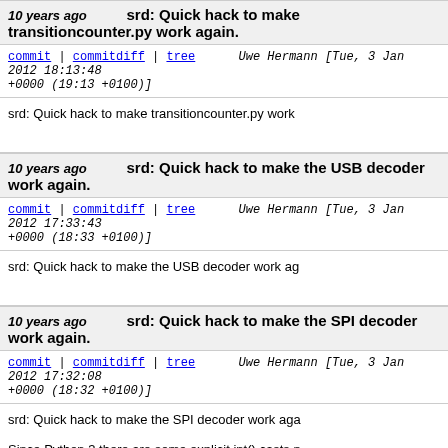10 years ago   srd: Quick hack to make transitioncounter.py work again.
commit | commitdiff | tree   Uwe Hermann [Tue, 3 Jan 2012 18:13:48 +0000 (19:13 +0100)]
srd: Quick hack to make transitioncounter.py work
10 years ago   srd: Quick hack to make the USB decoder work again.
commit | commitdiff | tree   Uwe Hermann [Tue, 3 Jan 2012 17:33:43 +0000 (18:33 +0100)]
srd: Quick hack to make the USB decoder work ag
10 years ago   srd: Quick hack to make the SPI decoder work again.
commit | commitdiff | tree   Uwe Hermann [Tue, 3 Jan 2012 17:32:08 +0000 (18:32 +0100)]
srd: Quick hack to make the SPI decoder work aga
Since Python 3 there are some explicit int() casts n
10 years ago   srd: Quick hack to make the UART decoder work again.